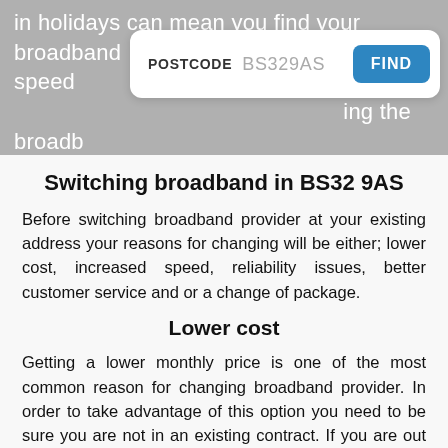in holidays can mean you find your broadband speed ... ing the broadb...
[Figure (screenshot): Search box with POSTCODE label showing BS329AS and a blue FIND button]
Switching broadband in BS32 9AS
Before switching broadband provider at your existing address your reasons for changing will be either; lower cost, increased speed, reliability issues, better customer service and or a change of package.
Lower cost
Getting a lower monthly price is one of the most common reason for changing broadband provider. In order to take advantage of this option you need to be sure you are not in an existing contract. If you are out of contract, you have two options to try and